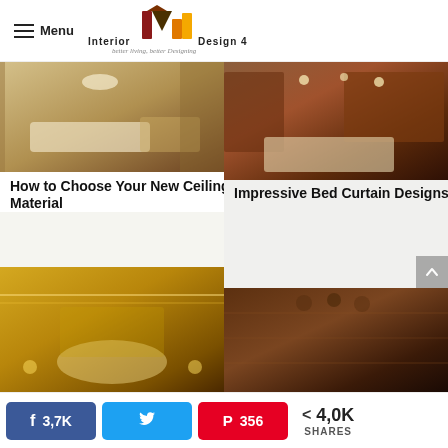Menu | Interior Design 4 — better living, better Designing
How to Choose Your New Ceiling Material
Impressive Bed Curtain Designs
[Figure (photo): Interior room photos collage — top: luxury living room with white sofa, stone wall, chandelier; bottom: opulent golden bedroom with round bed and ornate ceiling]
[Figure (photo): Interior kitchen/dining photos collage — top: rustic kitchen with dark wood cabinets and island; bottom: dark rustic kitchen with wooden accents]
3,7K  [share]  [tweet]  356  < 4,0K SHARES